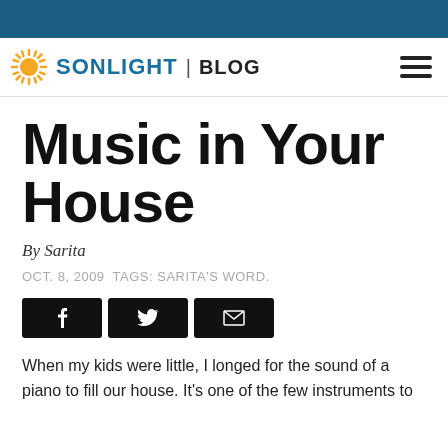SONLIGHT | BLOG
Music in Your House
By Sarita
OCT. 8, 2009 TAGS: SARITA'S WORD.
[Figure (other): Social share buttons: Facebook, Twitter, Email]
When my kids were little, I longed for the sound of a piano to fill our house. It's one of the few instruments to